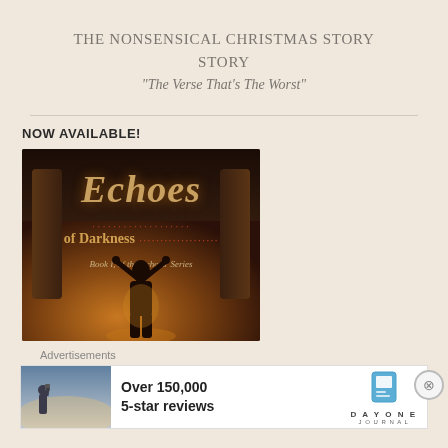THE NONSENSICAL CHRISTMAS STORY
"The Verse That's The Worst"
NOW AVAILABLE!
[Figure (photo): Book cover for 'Echoes of Darkness, Book I, of the Echoes' Series' showing a figure with raised arms against a dark atmospheric background with warm glowing light]
Advertisements
[Figure (photo): Advertisement banner: Over 150,000 5-star reviews - Day One Journal. Shows a person photographing scenery on the left side.]